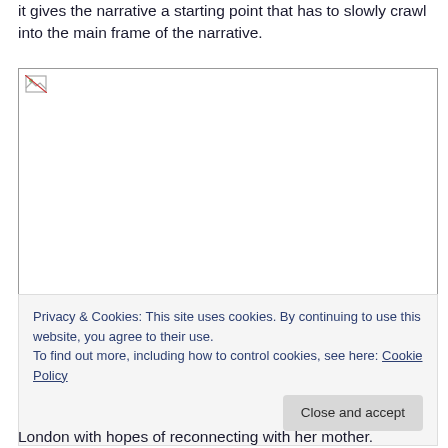it gives the narrative a starting point that has to slowly crawl into the main frame of the narrative.
[Figure (photo): A broken/missing image placeholder with small broken image icon in top-left corner, bordered rectangle]
Privacy & Cookies: This site uses cookies. By continuing to use this website, you agree to their use.
To find out more, including how to control cookies, see here: Cookie Policy
London with hopes of reconnecting with her mother.